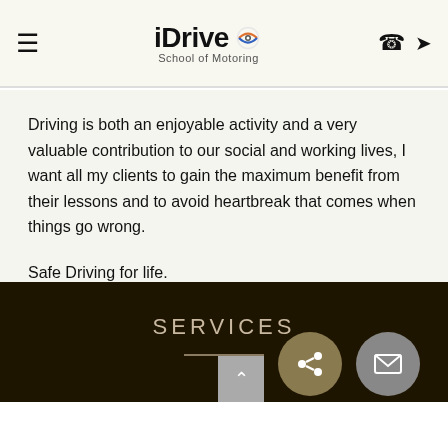iDrive School of Motoring
Driving is both an enjoyable activity and a very valuable contribution to our social and working lives, I want all my clients to gain the maximum benefit from their lessons and to avoid heartbreak that comes when things go wrong.
Safe Driving for life.
SERVICES